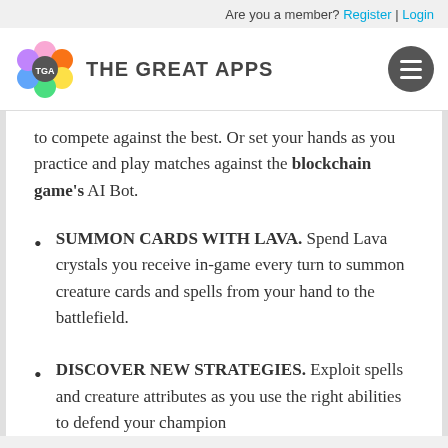Are you a member? Register | Login
[Figure (logo): The Great Apps logo with colorful flower/bubble icon and site name, plus hamburger menu button on the right]
to compete against the best. Or set your hands as you practice and play matches against the blockchain game's AI Bot.
SUMMON CARDS WITH LAVA. Spend Lava crystals you receive in-game every turn to summon creature cards and spells from your hand to the battlefield.
DISCOVER NEW STRATEGIES. Exploit spells and creature attributes as you use the right abilities to defend your champion